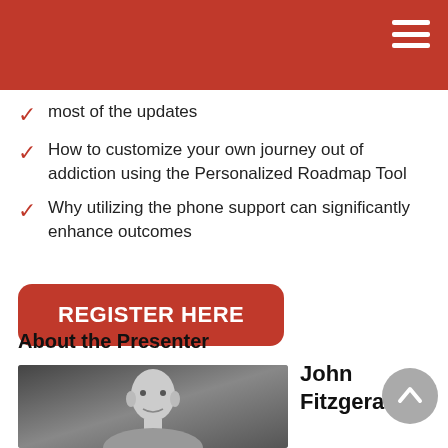most of the updates
How to customize your own journey out of addiction using the Personalized Roadmap Tool
Why utilizing the phone support can significantly enhance outcomes
REGISTER HERE
About the Presenter
[Figure (photo): Black and white photo of a bald man, the presenter]
John Fitzgerald,